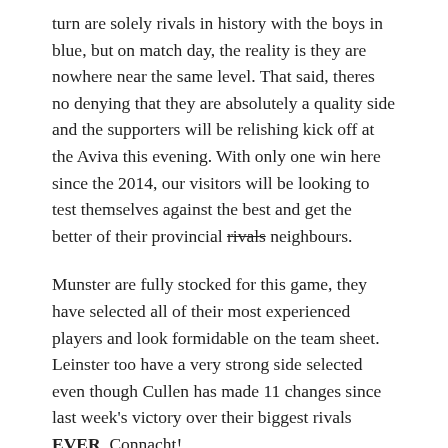turn are solely rivals in history with the boys in blue, but on match day, the reality is they are nowhere near the same level. That said, theres no denying that they are absolutely a quality side and the supporters will be relishing kick off at the Aviva this evening. With only one win here since the 2014, our visitors will be looking to test themselves against the best and get the better of their provincial rivals neighbours.
Munster are fully stocked for this game, they have selected all of their most experienced players and look formidable on the team sheet. Leinster too have a very strong side selected even though Cullen has made 11 changes since last week's victory over their biggest rivals EVER, Connacht!